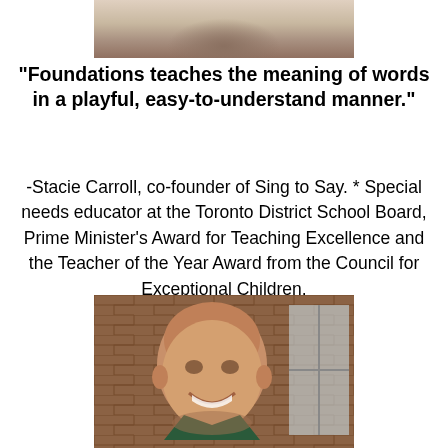[Figure (photo): Partial photo of a person at the top of the page, cropped showing only the lower portion of a face]
"Foundations teaches the meaning of words in a playful, easy-to-understand manner."
-Stacie Carroll, co-founder of Sing to Say. * Special needs educator at the Toronto District School Board, Prime Minister's Award for Teaching Excellence and the Teacher of the Year Award from the Council for Exceptional Children.
[Figure (photo): Portrait photo of a bald, smiling older man in front of a brick wall background]